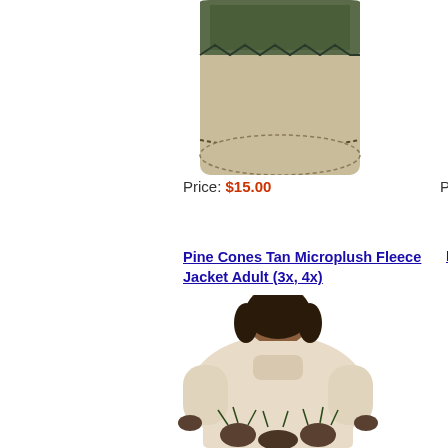[Figure (photo): Product image of a patterned fabric/textile item with pine cone/tropical leaf design, partially cut off at the top of the page]
Price: $15.00
Pine Cones Tan Microplush Fleece Jacket Adult (3x, 4x)
[Figure (photo): Back view of a person wearing a tan/cream microplush fleece jacket with pine cone pattern along the bottom hem and sleeves]